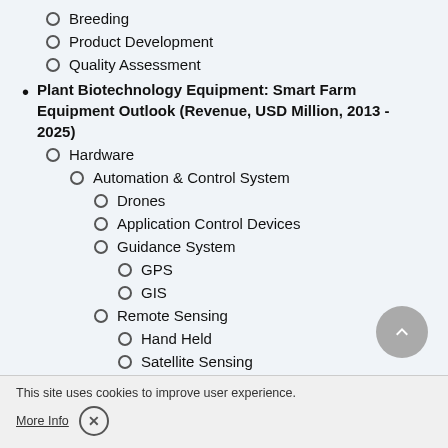Breeding
Product Development
Quality Assessment
Plant Biotechnology Equipment: Smart Farm Equipment Outlook (Revenue, USD Million, 2013 - 2025)
Hardware
Automation & Control System
Drones
Application Control Devices
Guidance System
GPS
GIS
Remote Sensing
Hand Held
Satellite Sensing
Driverless Tractors
Mobile Devices
Variable Rate Technology
This site uses cookies to improve user experience.
More Info